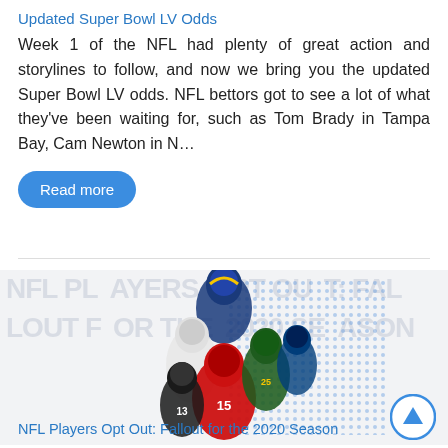Updated Super Bowl LV Odds
Week 1 of the NFL had plenty of great action and storylines to follow, and now we bring you the updated Super Bowl LV odds. NFL bettors got to see a lot of what they've been waiting for, such as Tom Brady in Tampa Bay, Cam Newton in N…
Read more
[Figure (photo): Collage of NFL players including a Rams player (#20), a player in white jersey, a player in #13 jersey, a player in #15 red jersey (Chiefs), and a player in Packers uniform, on a dotted blue background]
NFL Players Opt Out: Fallout for the 2020 Season